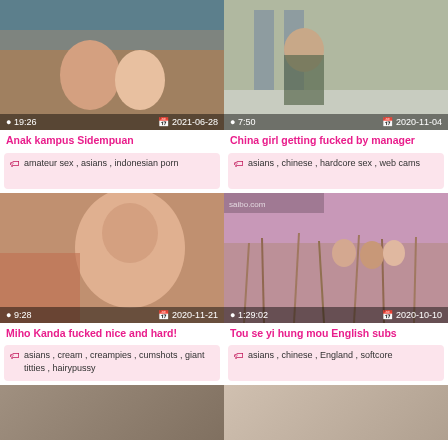[Figure (photo): Video thumbnail: people in outdoor setting, duration 19:26, date 2021-06-28]
Anak kampus Sidempuan
amateur sex , asians , indonesian porn
[Figure (photo): Video thumbnail: person near staircase, duration 7:50, date 2020-11-04]
China girl getting fucked by manager
asians , chinese , hardcore sex , web cams
[Figure (photo): Video thumbnail: woman, duration 9:28, date 2020-11-21]
Miho Kanda fucked nice and hard!
asians , cream , creampies , cumshots , giant titties , hairypussy
[Figure (photo): Video thumbnail: women in field with tall grass, duration 1:29:02, date 2020-10-10]
Tou se yi hung mou English subs
asians , chinese , England , softcore